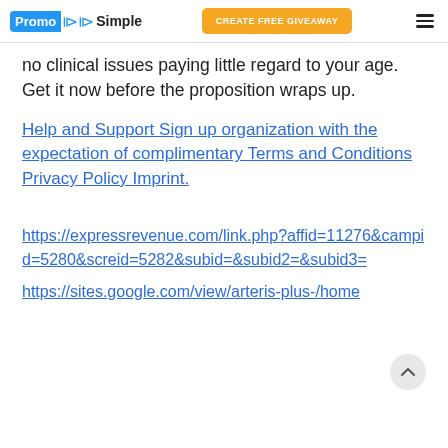PromoSimple | CREATE FREE GIVEAWAY
no clinical issues paying little regard to your age. Get it now before the proposition wraps up.
Help and Support Sign up organization with the expectation of complimentary Terms and Conditions Privacy Policy Imprint.
https://expressrevenue.com/link.php?affid=11276&campid=5280&screid=5282&subid=&subid2=&subid3=
https://sites.google.com/view/arteris-plus-/home